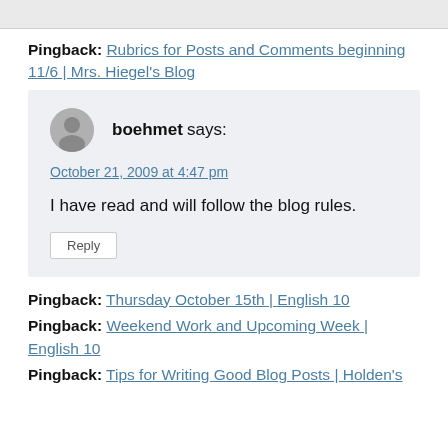Pingback: Rubrics for Posts and Comments beginning 11/6 | Mrs. Hiegel's Blog
boehmet says:
October 21, 2009 at 4:47 pm
I have read and will follow the blog rules.
Reply
Pingback: Thursday October 15th | English 10
Pingback: Weekend Work and Upcoming Week | English 10
Pingback: Tips for Writing Good Blog Posts | Holden's